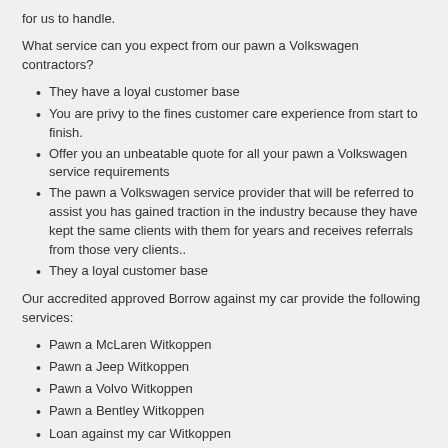for us to handle.
What service can you expect from our pawn a Volkswagen contractors?
They have a loyal customer base
You are privy to the fines customer care experience from start to finish.
Offer you an unbeatable quote for all your pawn a Volkswagen service requirements
The pawn a Volkswagen service provider that will be referred to assist you has gained traction in the industry because they have kept the same clients with them for years and receives referrals from those very clients..
They a loyal customer base
Our accredited approved Borrow against my car provide the following services:
Pawn a McLaren Witkoppen
Pawn a Jeep Witkoppen
Pawn a Volvo Witkoppen
Pawn a Bentley Witkoppen
Loan against my car Witkoppen
Car pawn companies Witkoppen
Pawn an ISUZU Bakkie Witkoppen
Loan against your car title Witkoppen
Pawn a Ferrari Witkoppen
Pawn a Alfa Romeo Witkoppen